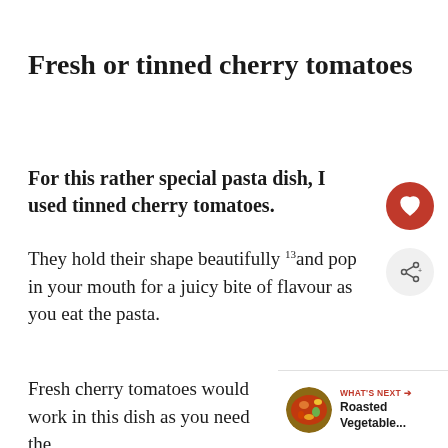Fresh or tinned cherry tomatoes
For this rather special pasta dish, I used tinned cherry tomatoes.
They hold their shape beautifully13 and pop in your mouth for a juicy bite of flavour as you eat the pasta.
Fresh cherry tomatoes would work in this dish as you need the
[Figure (infographic): Red circular heart/favourite button icon]
[Figure (infographic): Grey circular share button icon with share symbol]
[Figure (infographic): What's Next promotional banner: Roasted Vegetable... with circular food photo]